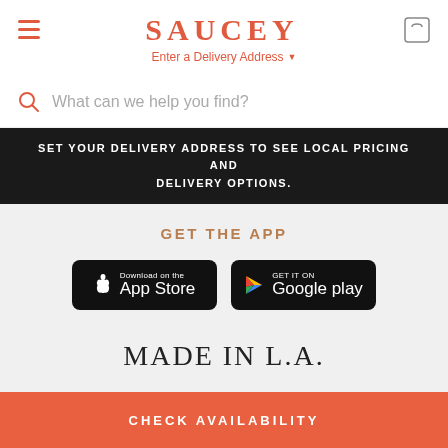SAUCEY — Enter a Delivery Address
What can we help you find?
SET YOUR DELIVERY ADDRESS TO SEE LOCAL PRICING AND DELIVERY OPTIONS.
GET THE APP
[Figure (screenshot): Download on the App Store button (black rounded rectangle with Apple logo)]
[Figure (screenshot): GET IT ON Google Play button (black rounded rectangle with Google Play logo)]
MADE IN L.A.
CHECK AVAILABILITY